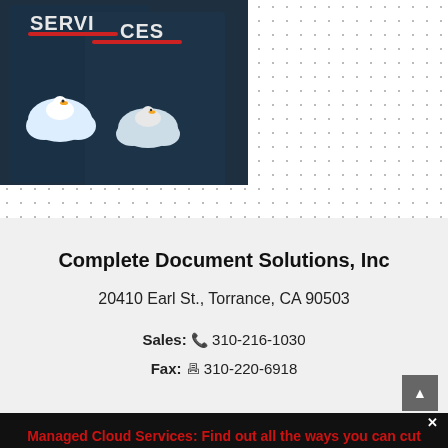[Figure (photo): Dark-themed cloud services book/brochure with cartoon cloud characters, text reading SERVICES and ICES visible, displayed against a dotted white background]
Complete Document Solutions, Inc
20410 Earl St., Torrance, CA 90503
Sales: 📞 310-216-1030
Fax: 🖷 310-220-6918
Managed Cloud Services: Find out all the ways you can cut costs and increase productivity
FREE EBOOK